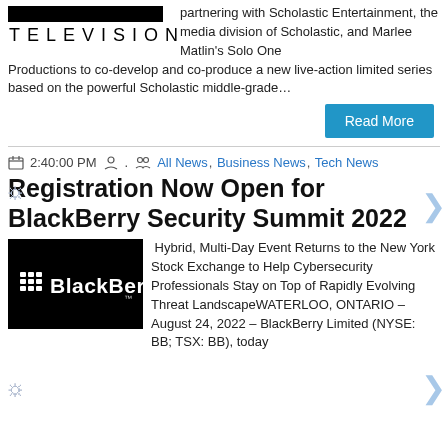[Figure (logo): Television logo: black bar above text reading TELEVISION in spaced capitals]
partnering with Scholastic Entertainment, the media division of Scholastic, and Marlee Matlin's Solo One Productions to co-develop and co-produce a new live-action limited series based on the powerful Scholastic middle-grade…
Read More
2:40:00 PM . All News, Business News, Tech News
Registration Now Open for BlackBerry Security Summit 2022
[Figure (logo): BlackBerry logo on black background: grid icon followed by BlackBerry wordmark in white]
Hybrid, Multi-Day Event Returns to the New York Stock Exchange to Help Cybersecurity Professionals Stay on Top of Rapidly Evolving Threat LandscapeWATERLOO, ONTARIO – August 24, 2022 – BlackBerry Limited (NYSE: BB; TSX: BB), today